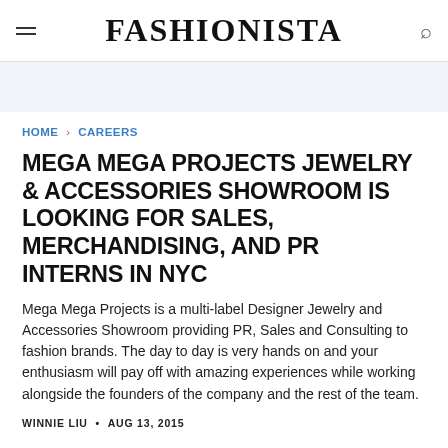FASHIONISTA
HOME > CAREERS
MEGA MEGA PROJECTS JEWELRY & ACCESSORIES SHOWROOM IS LOOKING FOR SALES, MERCHANDISING, AND PR INTERNS IN NYC
Mega Mega Projects is a multi-label Designer Jewelry and Accessories Showroom providing PR, Sales and Consulting to fashion brands. The day to day is very hands on and your enthusiasm will pay off with amazing experiences while working alongside the founders of the company and the rest of the team.
WINNIE LIU • AUG 13, 2015